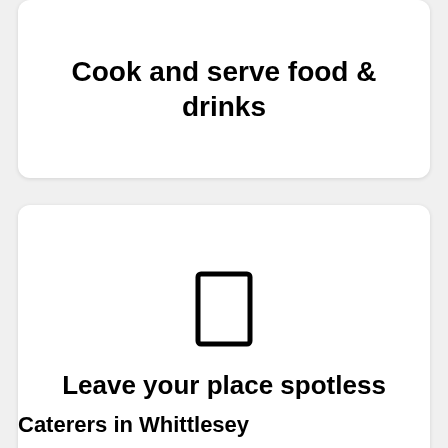Cook and serve food & drinks
[Figure (illustration): A rectangular icon resembling a mobile phone or card outline, drawn with a thick black border, centered in the card.]
Leave your place spotless
Caterers in Whittlesey